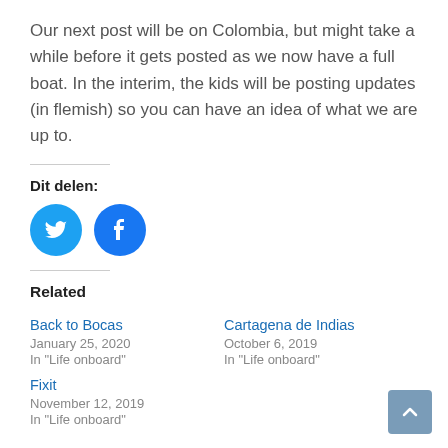Our next post will be on Colombia, but might take a while before it gets posted as we now have a full boat. In the interim, the kids will be posting updates (in flemish) so you can have an idea of what we are up to.
Dit delen:
[Figure (illustration): Two social share buttons: Twitter (blue bird icon) and Facebook (blue f icon)]
Related
Back to Bocas
January 25, 2020
In "Life onboard"
Cartagena de Indias
October 6, 2019
In "Life onboard"
Fixit
November 12, 2019
In "Life onboard"